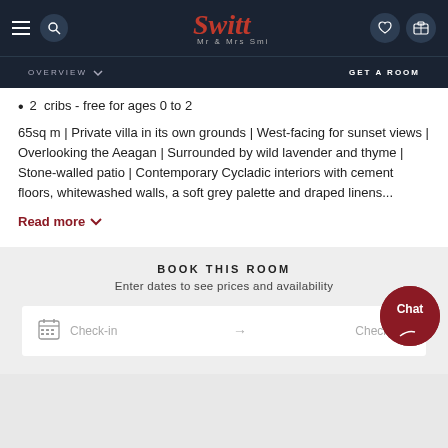[Figure (screenshot): Mr & Mrs Smith hotel booking website navigation bar with logo, hamburger menu, search, phone, heart, and luggage icons]
OVERVIEW  GET A ROOM
2  cribs - free for ages 0 to 2
65sq m | Private villa in its own grounds | West-facing for sunset views | Overlooking the Aeagan | Surrounded by wild lavender and thyme | Stone-walled patio | Contemporary Cycladic interiors with cement floors, whitewashed walls, a soft grey palette and draped linens...
Read more
BOOK THIS ROOM
Enter dates to see prices and availability
Check-in  →  Check-out